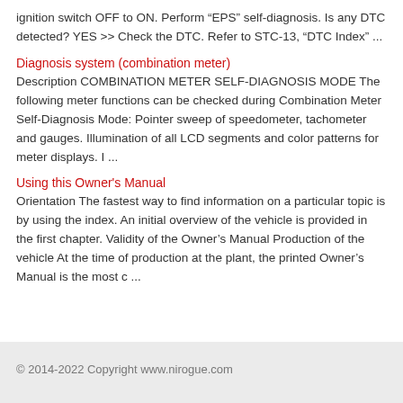ignition switch OFF to ON.  Perform “EPS” self-diagnosis. Is any DTC detected? YES >> Check the DTC. Refer to STC-13, “DTC Index” ...
Diagnosis system (combination meter)
Description COMBINATION METER SELF-DIAGNOSIS MODE The following meter functions can be checked during Combination Meter Self-Diagnosis Mode:  Pointer sweep of speedometer, tachometer and gauges.  Illumination of all LCD segments and color patterns for meter displays.  I ...
Using this Owner's Manual
Orientation The fastest way to find information on a particular topic is by using the index. An initial overview of the vehicle is provided in the first chapter. Validity of the Owner’s Manual Production of the vehicle At the time of production at the plant, the printed Owner’s Manual is the most c ...
© 2014-2022 Copyright www.nirogue.com